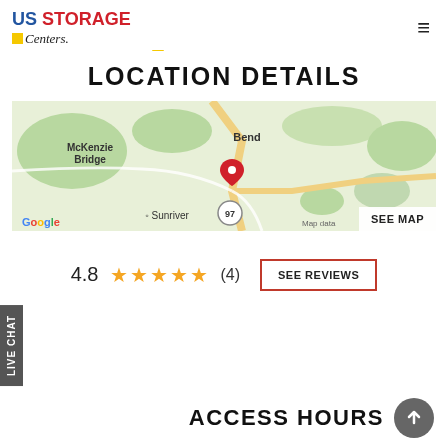US STORAGE Centers
LOCATION DETAILS
[Figure (map): Google Maps screenshot showing Bend, Oregon area with McKenzie Bridge to the west, Sunriver to the south, route 97, and a red location pin on Bend. Roads and terrain visible in muted green and tan colors.]
4.8 ★★★★★ (4)   SEE REVIEWS
ACCESS HOURS